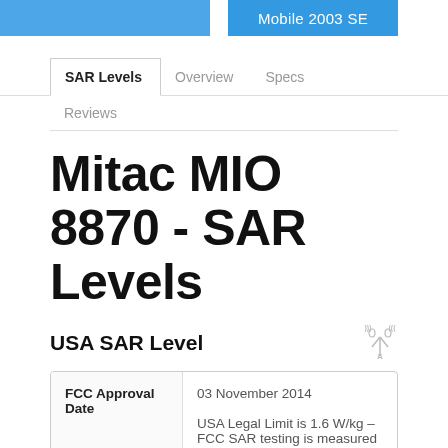Mobile 2003 SE
SAR Levels | Overview | Specs | Reviews
Mitac MIO 8870 - SAR Levels
USA SAR Level
|  |  |
| --- | --- |
| FCC Approval Date | 03 November 2014

USA Legal Limit is 1.6 W/kg – FCC SAR testing is measured in watts per |